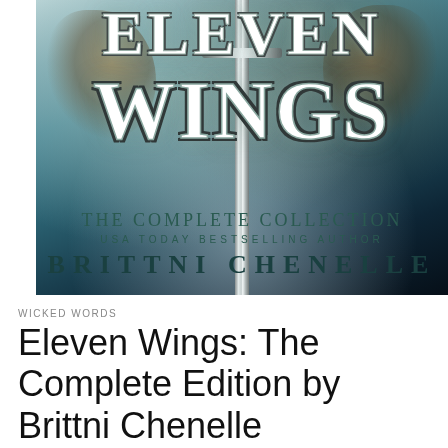[Figure (illustration): Book cover for 'Eleven Wings: The Complete Collection' by Brittni Chenelle. Fantasy art with large stylized white metallic text 'ELEVEN WINGS' over a misty blue-grey background with a sword running vertically down the center. Two fantasy creatures flank the title. Below the title text reads 'THE COMPLETE COLLECTION', 'USA TODAY BESTSELLING AUTHOR', and 'BRITTNI CHENELLE'.]
WICKED WORDS
Eleven Wings: The Complete Edition by Brittni Chenelle